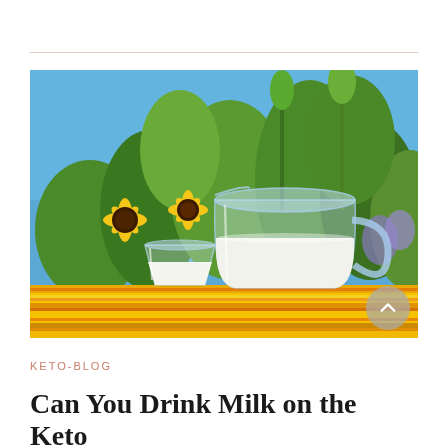[Figure (photo): A glass of milk and a large glass pitcher/jug filled with milk, placed on a colorful striped yellow and orange tablecloth outdoors, with sunflowers and green plants in the background under a bright blue sky.]
KETO-BLOG
Can You Drink Milk on the Keto